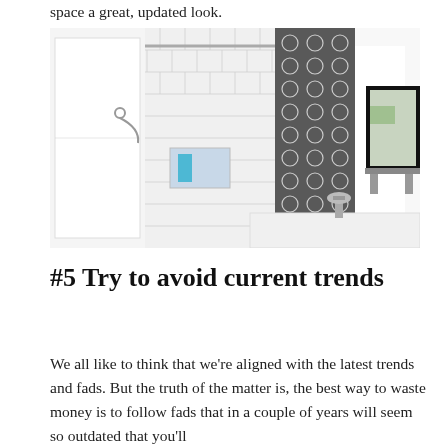space a great, updated look.
[Figure (photo): Black and white tiled bathroom with subway tile wall, patterned wallpaper, a shower curtain, black-framed mirror, and chrome faucet on a white sink.]
#5 Try to avoid current trends
We all like to think that we're aligned with the latest trends and fads. But the truth of the matter is, the best way to waste money is to follow fads that in a couple of years will seem so outdated that you'll